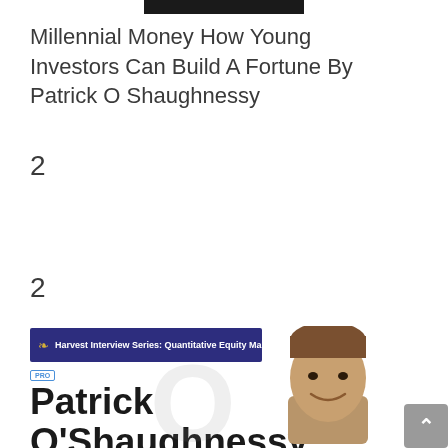Millennial Money How Young Investors Can Build A Fortune By Patrick O Shaughnessy
2
2
[Figure (screenshot): Harvest Interview Series: Quantitative Equity Manager banner with PRO badge, name Patrick O'Shaughnessy in bold, a watermark O symbol, and a photo of a young man smiling. A grey scroll-to-top button appears at the bottom right.]